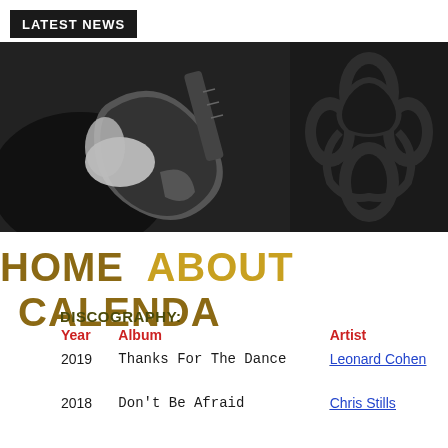LATEST NEWS
[Figure (photo): Two-panel hero image: left panel shows a black-and-white photo of hands playing an electric guitar; right panel shows a dark floral/damask pattern background.]
HOME  ABOUT  CALENDA
DISCOGRAPHY:
| Year | Album | Artist |
| --- | --- | --- |
| 2019 | Thanks For The Dance | Leonard Cohen |
| 2018 | Don't Be Afraid | Chris Stills |